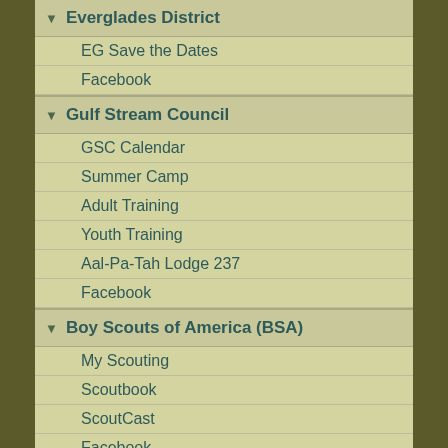Everglades District
EG Save the Dates
Facebook
Gulf Stream Council
GSC Calendar
Summer Camp
Adult Training
Youth Training
Aal-Pa-Tah Lodge 237
Facebook
Boy Scouts of America (BSA)
My Scouting
Scoutbook
ScoutCast
Facebook
Scout Stuff
Bryan on Scouting
ScoutingMagazine
Scourtingwire
ScoutingNewsRoom
BSA High Adventure & Florida Councils
Central Florida Council